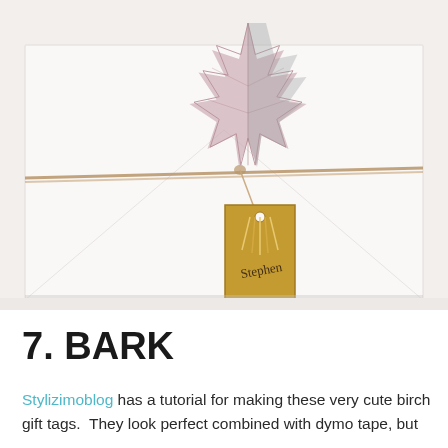[Figure (photo): A white gift-wrapped box decorated with a large dried maple leaf print. A piece of twine is wrapped horizontally around the box, and a mustard-yellow kraft paper gift tag with a small fringe/tassel hangs from the twine. The tag has handwritten text on it.]
7. BARK
Stylizimoblog has a tutorial for making these very cute birch gift tags.  They look perfect combined with dymo tape, but